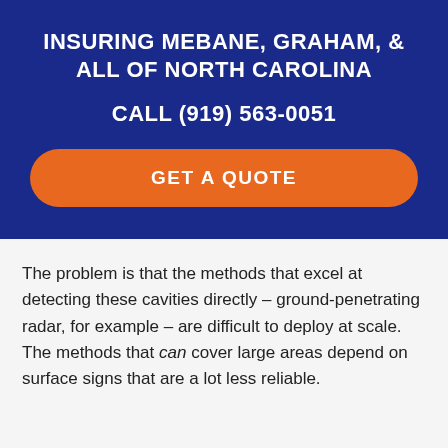INSURING MEBANE, GRAHAM, & ALL OF NORTH CAROLINA
CALL (919) 563-0051
[Figure (other): Orange rounded button with text GET A QUOTE]
The problem is that the methods that excel at detecting these cavities directly – ground-penetrating radar, for example – are difficult to deploy at scale. The methods that can cover large areas depend on surface signs that are a lot less reliable.